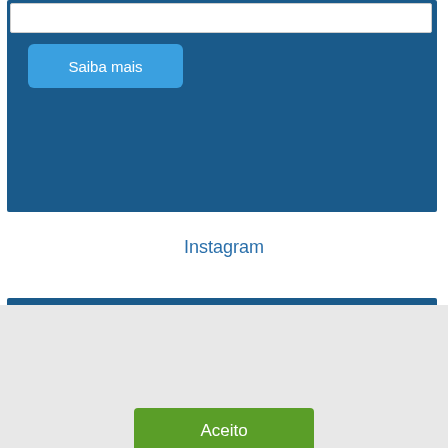[Figure (screenshot): Blue banner section with white input box at top and 'Saiba mais' button in light blue]
Instagram
[Figure (screenshot): Blue 'SIGA A ISAPA' section with Facebook, Instagram, and YouTube icons in white]
Usamos cookies em nosso site para oferecer a você a experiência mais relevante, lembrando suas preferências e visitas repetidas. Ao clicar em "Aceitar", você concorda com o uso de TODOS os cookies.
Aceito